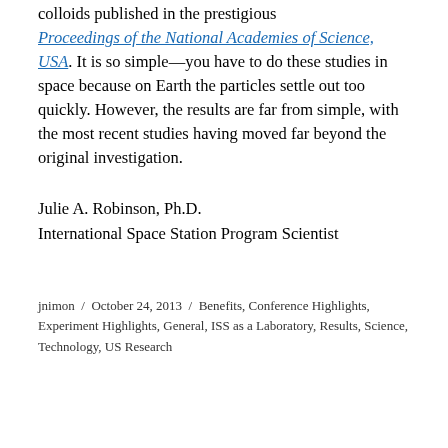colloids published in the prestigious Proceedings of the National Academies of Science, USA. It is so simple—you have to do these studies in space because on Earth the particles settle out too quickly. However, the results are far from simple, with the most recent studies having moved far beyond the original investigation.
Julie A. Robinson, Ph.D.
International Space Station Program Scientist
jnimon / October 24, 2013 / Benefits, Conference Highlights, Experiment Highlights, General, ISS as a Laboratory, Results, Science, Technology, US Research